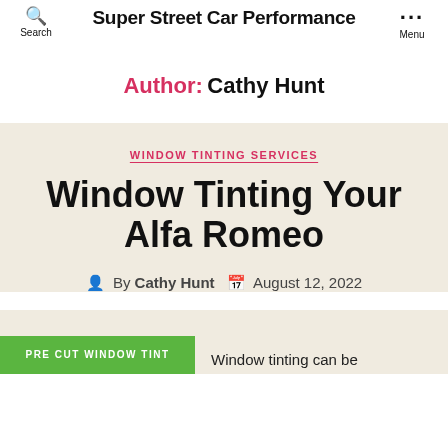Super Street Car Performance
Author: Cathy Hunt
WINDOW TINTING SERVICES
Window Tinting Your Alfa Romeo
By Cathy Hunt   August 12, 2022
PRE CUT WINDOW TINT   Window tinting can be